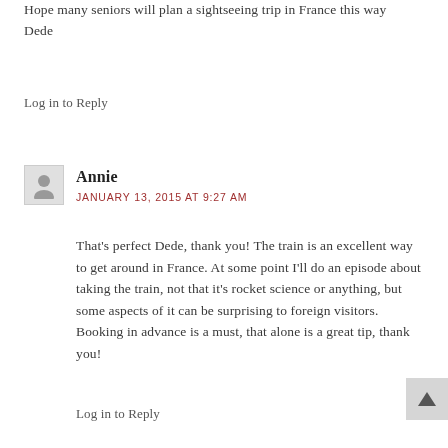Hope many seniors will plan a sightseeing trip in France this way
Dede
Log in to Reply
Annie
JANUARY 13, 2015 AT 9:27 AM
That's perfect Dede, thank you! The train is an excellent way to get around in France. At some point I'll do an episode about taking the train, not that it's rocket science or anything, but some aspects of it can be surprising to foreign visitors. Booking in advance is a must, that alone is a great tip, thank you!
Log in to Reply